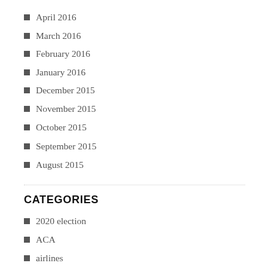April 2016
March 2016
February 2016
January 2016
December 2015
November 2015
October 2015
September 2015
August 2015
CATEGORIES
2020 election
ACA
airlines
Amazon
Attorney client privilege
Autocracy
Biden and Covid-19
Books on Trump